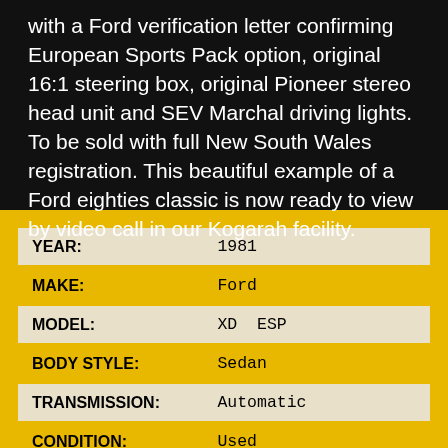with a Ford verification letter confirming European Sports Pack option, original 16:1 steering box, original Pioneer stereo head unit and SEV Marchal driving lights. To be sold with full New South Wales registration. This beautiful example of a Ford eighties classic is now ready to view by video call in our Kogarah facility.
| Field | Value |
| --- | --- |
| YEAR: | 1981 |
| MAKE: | Ford |
| MODEL: | XD  ESP |
| BODY STYLE: | Sedan |
| TRANSMISSION: | Automatic |
| CONDITION: | Used |
| LOCATION: | New South Wales (NSW) |
| ENGINE: | 8 Cylinder |